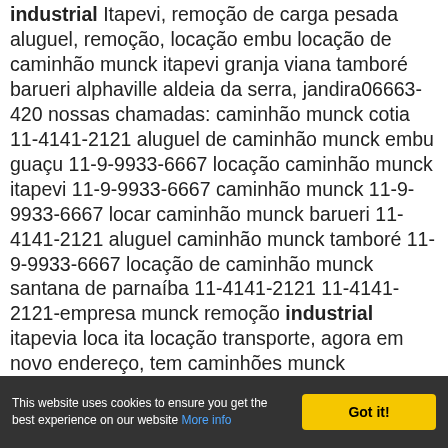industrial Itapevi, remoção de carga pesada aluguel, remoção, locação embu locação de caminhão munck itapevi granja viana tamboré barueri alphaville aldeia da serra, jandira06663-420 nossas chamadas: caminhão munck cotia 11-4141-2121 aluguel de caminhão munck embu guaçu 11-9-9933-6667 locação caminhão munck itapevi 11-9-9933-6667 caminhão munck 11-9-9933-6667 locar caminhão munck barueri 11-4141-2121 aluguel caminhão munck tamboré 11-9-9933-6667 locação de caminhão munck santana de parnaíba 11-4141-2121 11-4141-2121-empresa munck remoção industrial itapevia loca ita locação transporte, agora em novo endereço, tem caminhões munck disponíveis para toda a região oestelocação de caminhão munck itapevi loca ita locação transporte segurança e tradiçãoa loca ita locação transporte, tem profissionais de alta qualidade que fazem com que a sua carga chegue em qualquer lugar com a maior segurançaa loca ita locação transporte é uma
This website uses cookies to ensure you get the best experience on our website More info | Got it!